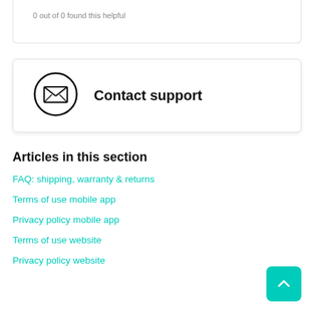0 out of 0 found this helpful
[Figure (illustration): Contact support card with envelope icon in a circle and text 'Contact support']
Articles in this section
FAQ: shipping, warranty & returns
Terms of use mobile app
Privacy policy mobile app
Terms of use website
Privacy policy website